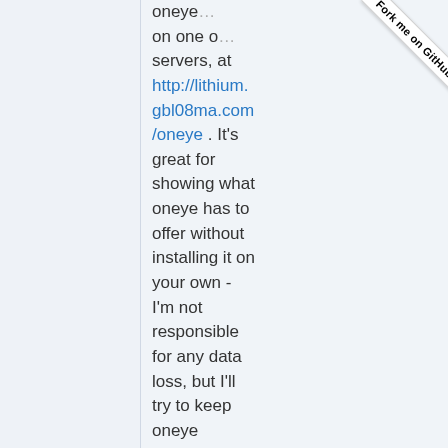oneye... on one of... servers, at http://lithium.gbl08ma.com/oneye . It's great for showing what oneye has to offer without installing it on your own - I'm not responsible for any data loss, but I'll try to keep oneye updated as updates come out. If you want to login on my server, just...
[Figure (other): Fork me on GitHub ribbon in the top-right corner]